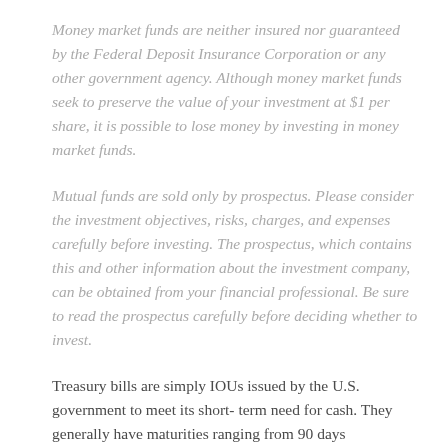Money market funds are neither insured nor guaranteed by the Federal Deposit Insurance Corporation or any other government agency. Although money market funds seek to preserve the value of your investment at $1 per share, it is possible to lose money by investing in money market funds.
Mutual funds are sold only by prospectus. Please consider the investment objectives, risks, charges, and expenses carefully before investing. The prospectus, which contains this and other information about the investment company, can be obtained from your financial professional. Be sure to read the prospectus carefully before deciding whether to invest.
Treasury bills are simply IOUs issued by the U.S. government to meet its short- term need for cash. They generally have maturities ranging from 90 days